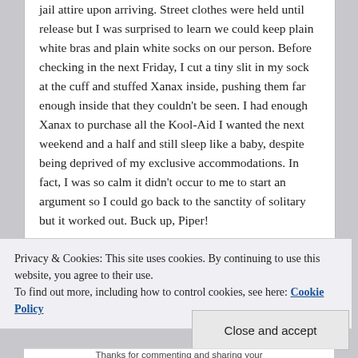jail attire upon arriving. Street clothes were held until release but I was surprised to learn we could keep plain white bras and plain white socks on our person. Before checking in the next Friday, I cut a tiny slit in my sock at the cuff and stuffed Xanax inside, pushing them far enough inside that they couldn't be seen. I had enough Xanax to purchase all the Kool-Aid I wanted the next weekend and a half and still sleep like a baby, despite being deprived of my exclusive accommodations. In fact, I was so calm it didn't occur to me to start an argument so I could go back to the sanctity of solitary but it worked out. Buck up, Piper!
Privacy & Cookies: This site uses cookies. By continuing to use this website, you agree to their use. To find out more, including how to control cookies, see here: Cookie Policy
Close and accept
Thanks for commenting and sharing your